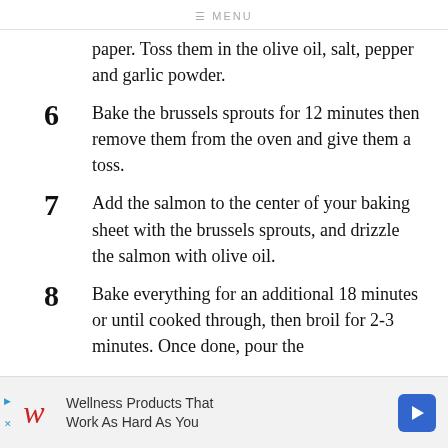≡ MENU
paper. Toss them in the olive oil, salt, pepper and garlic powder.
6  Bake the brussels sprouts for 12 minutes then remove them from the oven and give them a toss.
7  Add the salmon to the center of your baking sheet with the brussels sprouts, and drizzle the salmon with olive oil.
8  Bake everything for an additional 18 minutes or until cooked through, then broil for 2-3 minutes. Once done, pour the
Wellness Products That Work As Hard As You